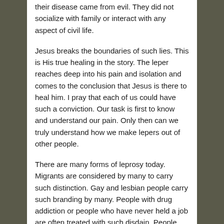their disease came from evil. They did not socialize with family or interact with any aspect of civil life.
Jesus breaks the boundaries of such lies. This is His true healing in the story. The leper reaches deep into his pain and isolation and comes to the conclusion that Jesus is there to heal him. I pray that each of us could have such a conviction. Our task is first to know and understand our pain. Only then can we truly understand how we make lepers out of other people.
There are many forms of leprosy today. Migrants are considered by many to carry such distinction. Gay and lesbian people carry such branding by many. People with drug addiction or people who have never held a job are often treated with such disdain. People from the opposite political party live under this name. Still in this day, people born with skin color different from our own are labeled and given only certain recognitions.
I suffered from severe acne when I was young. A dermatologist treated me for eight years. He told me that